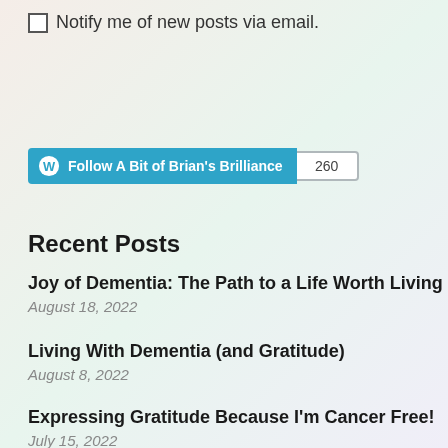Notify me of new posts via email.
[Figure (other): WordPress Follow button for 'A Bit of Brian's Brilliance' with follower count badge showing 260]
Recent Posts
Joy of Dementia: The Path to a Life Worth Living
August 18, 2022
Living With Dementia (and Gratitude)
August 8, 2022
Expressing Gratitude Because I'm Cancer Free!
July 15, 2022